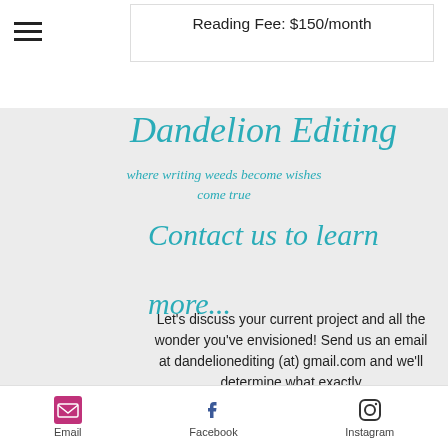Reading Fee: $150/month
Dandelion Editing
where writing weeds become wishes come true
Contact us to learn more...
Let's discuss your current project and all the wonder you've envisioned! Send us an email at dandelionediting (at) gmail.com and we'll determine what exactly
Email  Facebook  Instagram